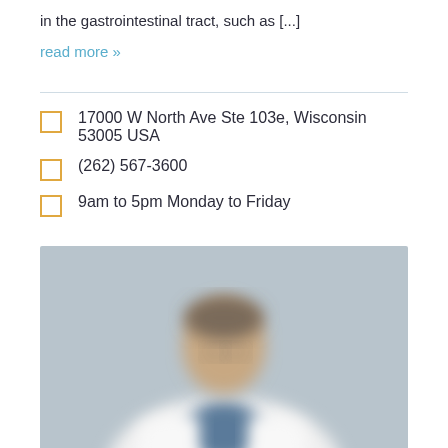in the gastrointestinal tract, such as [...]
read more »
17000 W North Ave Ste 103e, Wisconsin 53005 USA
(262) 567-3600
9am to 5pm Monday to Friday
[Figure (photo): Blurred photo of a male doctor or physician wearing a white coat against a grey background]